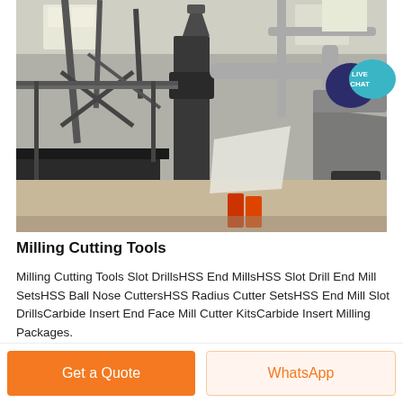[Figure (photo): Industrial milling machine inside a large factory building with metal framework, pipes, conveyor systems, and heavy machinery equipment on a concrete floor.]
Milling Cutting Tools
Milling Cutting Tools Slot DrillsHSS End MillsHSS Slot Drill End Mill SetsHSS Ball Nose CuttersHSS Radius Cutter SetsHSS End Mill Slot DrillsCarbide Insert End Face Mill Cutter KitsCarbide Insert Milling Packages.
Get a Quote
WhatsApp